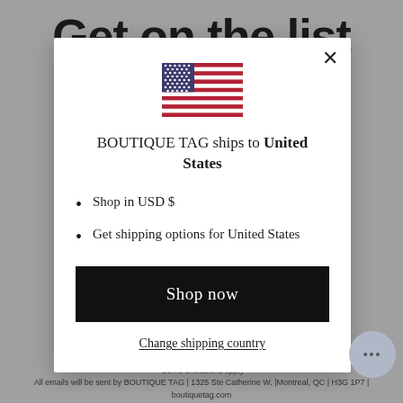Get on the list
[Figure (illustration): US flag SVG inline illustration]
BOUTIQUE TAG ships to United States
Shop in USD $
Get shipping options for United States
Shop now
Change shipping country
*Some exclusions apply
All emails will be sent by BOUTIQUE TAG | 1325 Ste Catherine W. |Montreal, QC | H3G 1P7 | boutiquetag.com